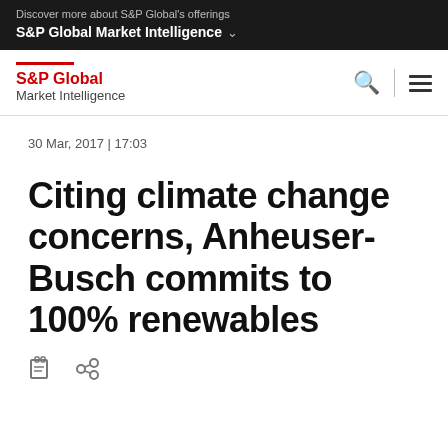Discover more about S&P Global's offerings
S&P Global Market Intelligence
[Figure (logo): S&P Global Market Intelligence logo with red bar and search/menu icons]
30 Mar, 2017 | 17:03
Citing climate change concerns, Anheuser-Busch commits to 100% renewables